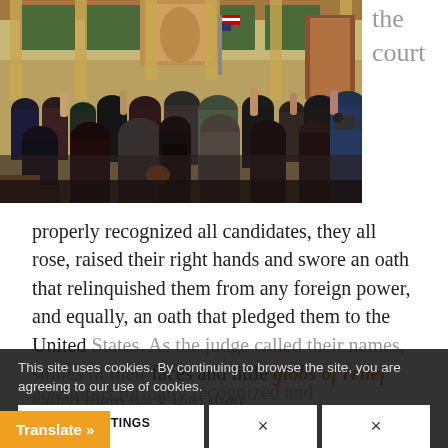[Figure (photo): Crowd of people standing inside an ornate courtroom or government hall with tall columns and murals, raising their right hands as if taking an oath. The room has gilded decorations, green walls, and an American flag is visible.]
the court
properly recognized all candidates, they all rose, raised their right hands and swore an oath that relinquished them from any foreign power, and equally, an oath that pledged them to the United States. As the judge called their names, smiles lit their faces and little globs of relief called them back into their…
This site uses cookies. By continuing to browse the site, you are agreeing to our use of cookies.
ACCEPT SETTINGS
×
×
Translate »
anizations formally recognized and